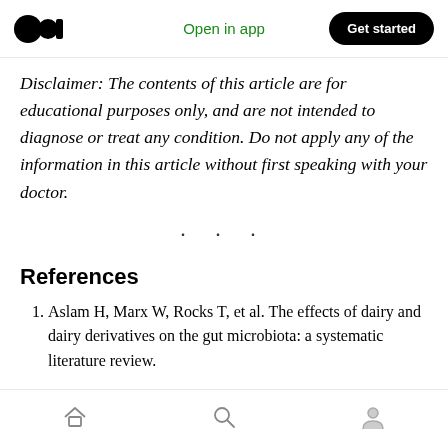Open in app | Get started
Disclaimer: The contents of this article are for educational purposes only, and are not intended to diagnose or treat any condition. Do not apply any of the information in this article without first speaking with your doctor.
References
Aslam H, Marx W, Rocks T, et al. The effects of dairy and dairy derivatives on the gut microbiota: a systematic literature review.
Home | Search | Profile